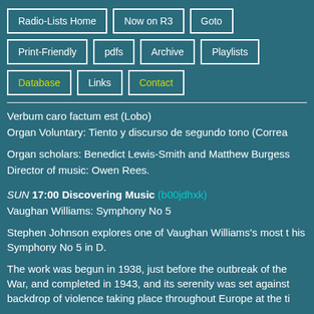Radio-Lists Home
Now on R3
Goto
Print-Friendly
pdfs
Archive
Playlists
Database
Links
Contact
Verbum caro factum est (Lobo)
Organ Voluntary: Tiento y discurso de segundo tono (Correa
Organ scholars: Benedict Lewis-Smith and Matthew Burgess
Director of music: Owen Rees.
SUN 17:00 Discovering Music (b00jdhxk)
Vaughan Williams: Symphony No 5
Stephen Johnson explores one of Vaughan Williams's most t his Symphony No 5 in D.
The work was begun in 1938, just before the outbreak of the War, and completed in 1943, and its serenity was set against backdrop of violence taking place throughout Europe at the ti